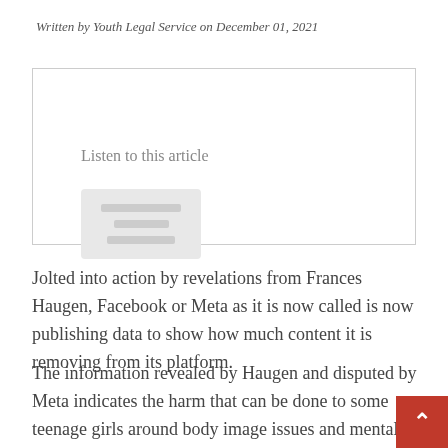Written by Youth Legal Service on December 01, 2021
[Figure (other): Listen to this article audio player widget with grey placeholder blocks representing audio controls]
Jolted into action by revelations from Frances Haugen, Facebook or Meta as it is now called is now publishing data to show how much content it is removing from its platform.
The information revealed by Haugen and disputed by Meta indicates the harm that can be done to some teenage girls around body image issues and mental health.  Facebook also struggles to police hate speec